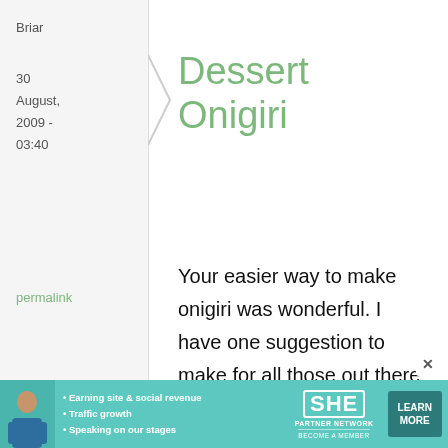Briar
30 August, 2009 - 03:40
permalink
Dessert Onigiri
Your easier way to make onigiri was wonderful. I have one suggestion to make for all those out there who grew up on rice pudding - you can make dessert onigiri by replacing the filling
[Figure (infographic): SHE Partner Network advertisement banner with woman photo, bullet points about earning site & social revenue, traffic growth, speaking on our stages, SHE logo, and Learn More button]